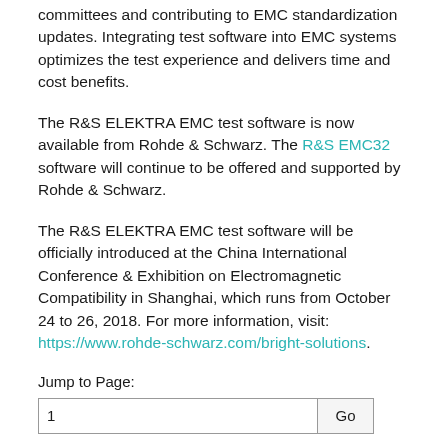committees and contributing to EMC standardization updates. Integrating test software into EMC systems optimizes the test experience and delivers time and cost benefits.
The R&S ELEKTRA EMC test software is now available from Rohde & Schwarz. The R&S EMC32 software will continue to be offered and supported by Rohde & Schwarz.
The R&S ELEKTRA EMC test software will be officially introduced at the China International Conference & Exhibition on Electromagnetic Compatibility in Shanghai, which runs from October 24 to 26, 2018. For more information, visit: https://www.rohde-schwarz.com/bright-solutions.
Jump to Page:
1
Related Articles
EMV 2019: Rohde & Schwarz Adds New Automated EMC Test